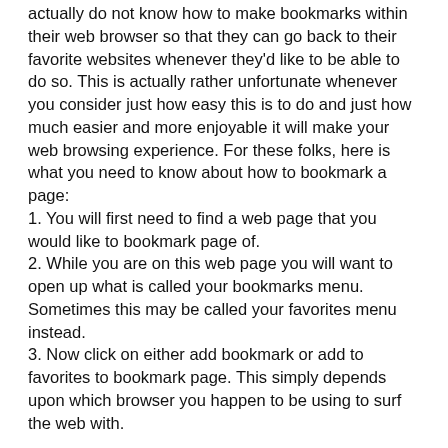actually do not know how to make bookmarks within their web browser so that they can go back to their favorite websites whenever they'd like to be able to do so. This is actually rather unfortunate whenever you consider just how easy this is to do and just how much easier and more enjoyable it will make your web browsing experience. For these folks, here is what you need to know about how to bookmark a page:
1. You will first need to find a web page that you would like to bookmark page of.
2. While you are on this web page you will want to open up what is called your bookmarks menu. Sometimes this may be called your favorites menu instead.
3. Now click on either add bookmark or add to favorites to bookmark page. This simply depends upon which browser you happen to be using to surf the web with.
That's all there is to it. Once you have saved your web page you simply open the bookmarks or favorites menu and